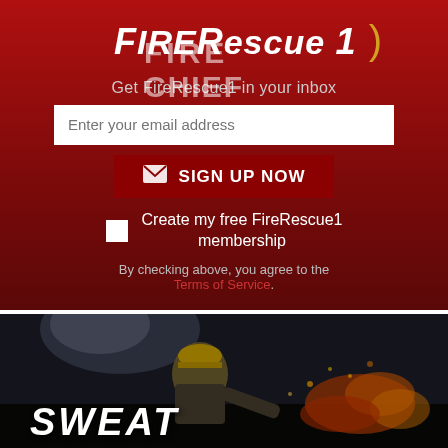[Figure (logo): FireRescue1 logo with stylized italic text and parenthesis mark, with overlaid FIRE CHIEF watermark text]
Get FireRescue1 in your inbox
Enter your email address
SIGN UP NOW
Create my free FireRescue1 membership
By checking above, you agree to the Terms of Service.
[Figure (photo): Firefighter in yellow helmet working at a fire scene with orange flames/embers visible, dark background]
SWEAT